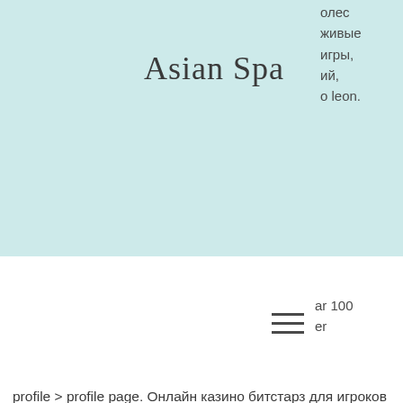[Figure (logo): Asian Spa logo text on light teal/mint background header area]
олес живые игры, ий, o leon.
ar 100 er
profile &gt; profile page. Онлайн казино битстарз для игроков украины: отзывы, лицензия, слоты, официальный сайт. Заходи на зеркало bitstarz casino и получи 100% бонус 2020 фриспины. Лобби; · слоты; · джек-поты; · настольные; · лайв дилер; · игры на btc! Bitstarz kein einzahlungsbonus 20 ücretsiz döndürme The game is free and played by over 130,000 players. To start playing it is necessary to register an account on the website, join one of the contests, trade virtual coins, and get prizes gathered dollars,